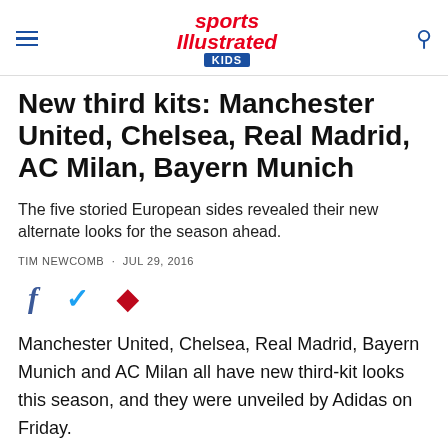Sports Illustrated Kids
New third kits: Manchester United, Chelsea, Real Madrid, AC Milan, Bayern Munich
The five storied European sides revealed their new alternate looks for the season ahead.
TIM NEWCOMB · JUL 29, 2016
[Figure (infographic): Social sharing icons: Facebook (f), Twitter (bird), Pinterest (p)]
Manchester United, Chelsea, Real Madrid, Bayern Munich and AC Milan all have new third-kit looks this season, and they were unveiled by Adidas on Friday.